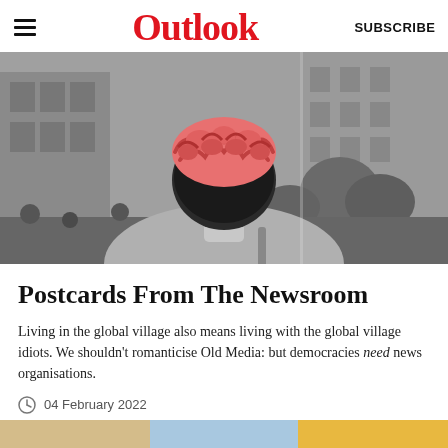Outlook
[Figure (photo): Back view of a person wearing a knitted brain-shaped hat, in black and white with the brain hat colored pink/red. Blurred urban background with buildings and crowd.]
Postcards From The Newsroom
Living in the global village also means living with the global village idiots. We shouldn't romanticise Old Media: but democracies need news organisations.
04 February 2022